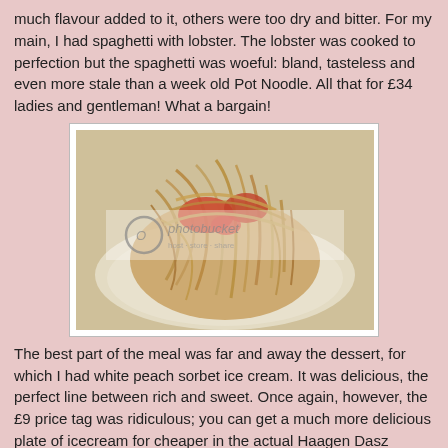much flavour added to it, others were too dry and bitter. For my main, I had spaghetti with lobster. The lobster was cooked to perfection but the spaghetti was woeful: bland, tasteless and even more stale than a week old Pot Noodle. All that for £34 ladies and gentleman! What a bargain!
[Figure (photo): A plate of spaghetti with lobster on a white plate, with a Photobucket watermark overlay]
The best part of the meal was far and away the dessert, for which I had white peach sorbet ice cream. It was delicious, the perfect line between rich and sweet. Once again, however, the £9 price tag was ridiculous; you can get a much more delicious plate of icecream for cheaper in the actual Haagen Dasz restaurant in Leicester Square.